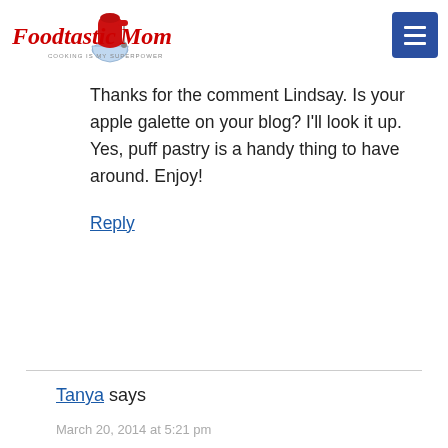Foodtastic Mom — Cooking is my superpower
Thanks for the comment Lindsay. Is your apple galette on your blog? I'll look it up. Yes, puff pastry is a handy thing to have around. Enjoy!
Reply
Tanya says
March 20, 2014 at 5:21 pm